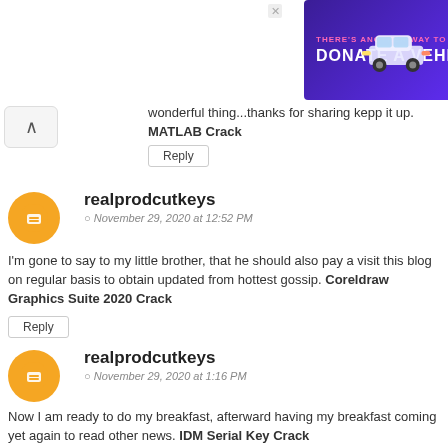[Figure (other): Advertisement banner: THERE'S ANOTHER WAY TO GIVE! DONATE A VEHICLE GIVE TODAY with a car image on purple background]
wonderful thing...thanks for sharing kepp it up. MATLAB Crack
Reply
realprodcutkeys
November 29, 2020 at 12:52 PM
I'm gone to say to my little brother, that he should also pay a visit this blog on regular basis to obtain updated from hottest gossip. Coreldraw Graphics Suite 2020 Crack
Reply
realprodcutkeys
November 29, 2020 at 1:16 PM
Now I am ready to do my breakfast, afterward having my breakfast coming yet again to read other news. IDM Serial Key Crack
Reply